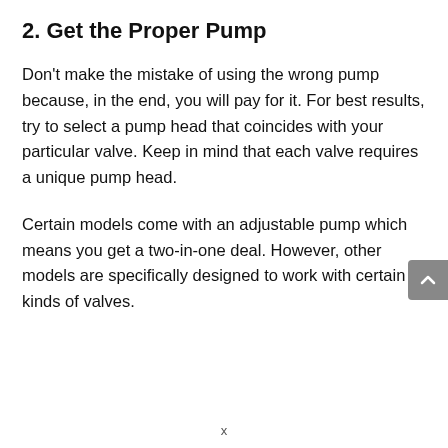2. Get the Proper Pump
Don't make the mistake of using the wrong pump because, in the end, you will pay for it. For best results, try to select a pump head that coincides with your particular valve. Keep in mind that each valve requires a unique pump head.
Certain models come with an adjustable pump which means you get a two-in-one deal. However, other models are specifically designed to work with certain kinds of valves.